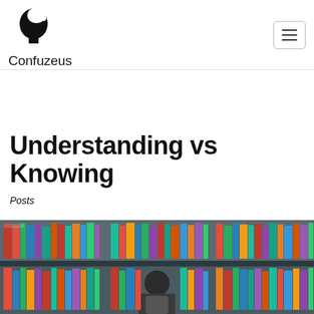Confuzeus
Understanding vs Knowing
Posts
[Figure (photo): A person seen from behind looking at colorful bookshelves filled with many books in a library.]